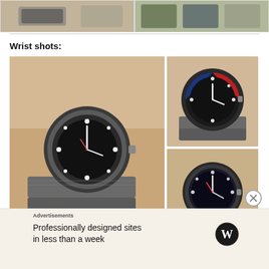[Figure (photo): Two watch straps shown close-up — left shows a grey/olive textile strap, right shows navy/olive/grey textile straps side by side]
Wrist shots:
[Figure (photo): Three wrist shots of watches on fabric/NATO-style straps: large left image shows a dark dive watch on grey strap; top-right shows a watch with red/blue bezel on grey strap; bottom-right shows a black dive watch on olive green strap]
Advertisements
Professionally designed sites in less than a week